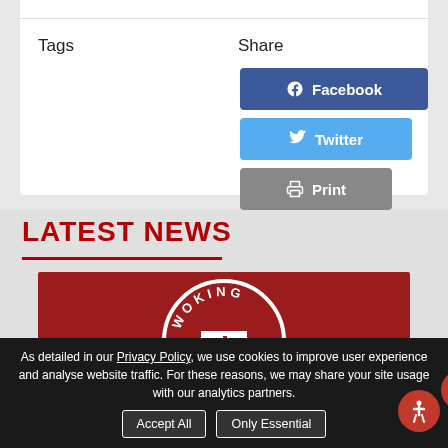Tags
Share
Facebook
Twitter
Print
LATEST NEWS
[Figure (logo): Woking FC crest logo on dark red background]
As detailed in our Privacy Policy, we use cookies to improve user experience and analyse website traffic. For these reasons, we may share your site usage with our analytics partners.
Accept All
Only Essential